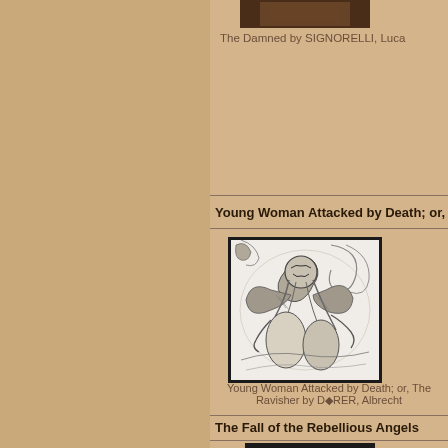[Figure (photo): Partial thumbnail of artwork at top of right panel]
The Damned by SIGNORELLI, Luca
Young Woman Attacked by Death; or, Th
[Figure (illustration): Detailed pen and ink drawing showing a chaotic scene with figures, likely Dürer's Young Woman Attacked by Death, with a skeletal death figure attacking a woman among swirling forms]
Young Woman Attacked by Death; or, The Ravisher by DÜRER, Albrecht
The Fall of the Rebellious Angels
[Figure (photo): Partial dark thumbnail of another artwork at the bottom of the page]